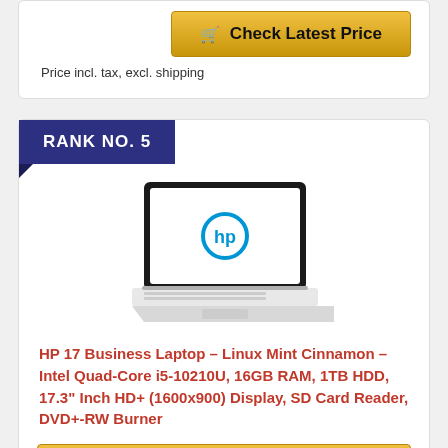Check Latest Price
Price incl. tax, excl. shipping
RANK NO. 5
[Figure (photo): HP laptop computer with HP logo on screen, white/silver body with keyboard visible, open at angle]
HP 17 Business Laptop – Linux Mint Cinnamon – Intel Quad-Core i5-10210U, 16GB RAM, 1TB HDD, 17.3" Inch HD+ (1600x900) Display, SD Card Reader, DVD+-RW Burner